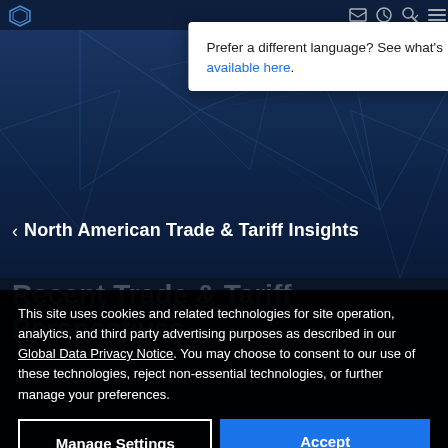[Figure (screenshot): Top navigation bar with icons on dark blue background]
Prefer a different language? See what's available here.
< North American Trade & Tariff Insights
Recent Trade & Tariff Perspectives
This site uses cookies and related technologies for site operation, analytics, and third party advertising purposes as described in our Global Data Privacy Notice. You may choose to consent to our use of these technologies, reject non-essential technologies, or further manage your preferences.
May 18, ... Development Manager